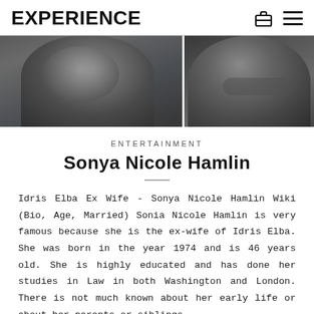EXPERIENCE
[Figure (photo): Side-by-side cropped photo of two people: on the left, a man with grey beard and dark clothing; on the right, a woman with dark hair and a necklace. The image is split down the middle.]
ENTERTAINMENT
Sonya Nicole Hamlin
Idris Elba Ex Wife - Sonya Nicole Hamlin Wiki (Bio, Age, Married) Sonia Nicole Hamlin is very famous because she is the ex-wife of Idris Elba. She was born in the year 1974 and is 46 years old. She is highly educated and has done her studies in Law in both Washington and London. There is not much known about her early life or about her parents or siblings. She met …